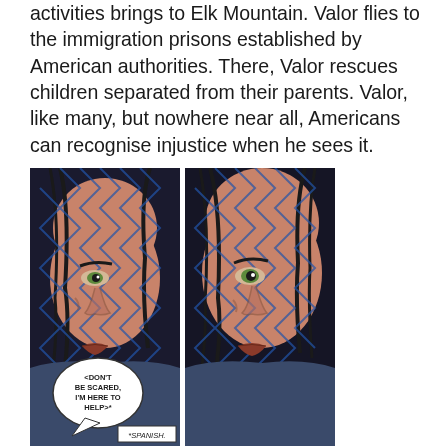activities brings to Elk Mountain. Valor flies to the immigration prisons established by American authorities. There, Valor rescues children separated from their parents. Valor, like many, but nowhere near all, Americans can recognise injustice when he sees it.
[Figure (illustration): Two-panel comic strip showing a close-up of a woman's face pressed against a chain-link fence. Her expression is fearful. In the left panel, a speech bubble reads '<DON'T BE SCARED, I'M HERE TO HELP>*' with a footnote '*SPANISH.' at the bottom. The right panel shows the same face without the speech bubble, slightly zoomed in.]